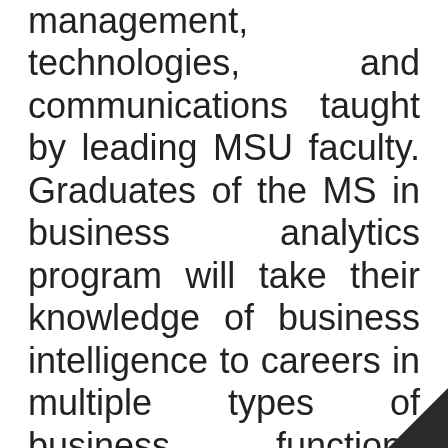management, marketing technologies, and communications taught by leading MSU faculty. Graduates of the MS in business analytics program will take their knowledge of business intelligence to careers in multiple types of business functions across a diverse industry range. Michigan State University provides their students with multiple tools to be successful on the internship and job search. Before even starting the program, accepted students will begin preparing their